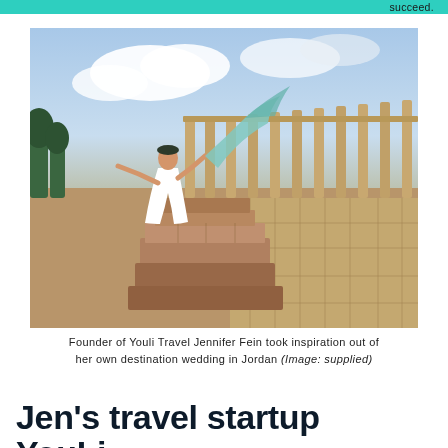succeed.
[Figure (photo): A woman in a white dress stands on ancient stone ruins at a Roman archaeological site (Jerash, Jordan), holding a flowing teal scarf aloft in the wind. Tall Roman columns arc in the background under a partly cloudy sky.]
Founder of Youli Travel Jennifer Fein took inspiration out of her own destination wedding in Jordan (Image: supplied)
Jen's travel startup YouLi